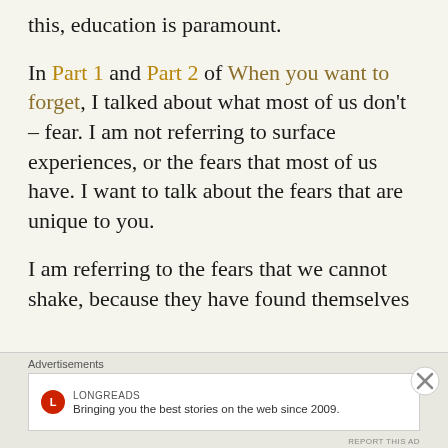this, education is paramount.
In Part 1 and Part 2 of When you want to forget, I talked about what most of us don't – fear. I am not referring to surface experiences, or the fears that most of us have. I want to talk about the fears that are unique to you.
I am referring to the fears that we cannot shake, because they have found themselves
Advertisements
[Figure (other): Longreads advertisement banner with logo and tagline: Bringing you the best stories on the web since 2009.]